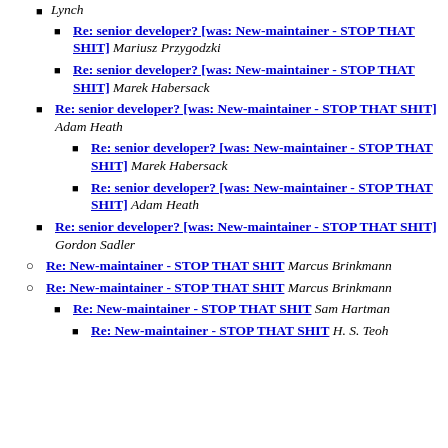Re: senior developer? [was: New-maintainer - STOP THAT SHIT] Mariusz Przygodzki
Re: senior developer? [was: New-maintainer - STOP THAT SHIT] Marek Habersack
Re: senior developer? [was: New-maintainer - STOP THAT SHIT] Adam Heath
Re: senior developer? [was: New-maintainer - STOP THAT SHIT] Marek Habersack
Re: senior developer? [was: New-maintainer - STOP THAT SHIT] Adam Heath
Re: senior developer? [was: New-maintainer - STOP THAT SHIT] Gordon Sadler
Re: New-maintainer - STOP THAT SHIT Marcus Brinkmann
Re: New-maintainer - STOP THAT SHIT Marcus Brinkmann
Re: New-maintainer - STOP THAT SHIT Sam Hartman
Re: New-maintainer - STOP THAT SHIT H. S. Teoh